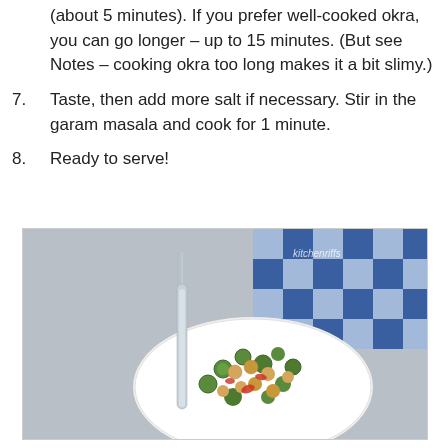(about 5 minutes). If you prefer well-cooked okra, you can go longer – up to 15 minutes. (But see Notes – cooking okra too long makes it a bit slimy.)
7. Taste, then add more salt if necessary. Stir in the garam masala and cook for 1 minute.
8. Ready to serve!
[Figure (photo): Overhead photo of a white plate with chickpea and okra curry, garnished with sliced okra and red peppers, with a silver fork and a blue checkered cloth napkin in the background on a gray surface. Watermark reads kitchenriffs.]